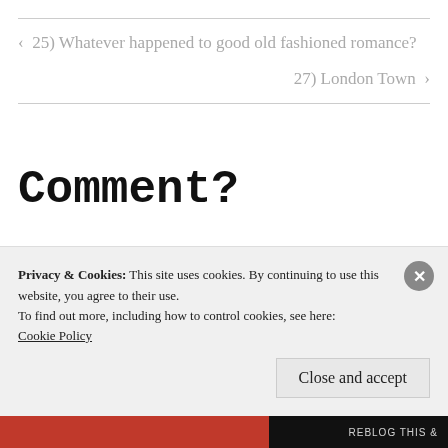< 25) Whatever happened to good old fashioned romance?
27) London Town >
Comment?
Your email address will not be published.
Privacy & Cookies: This site uses cookies. By continuing to use this website, you agree to their use.
To find out more, including how to control cookies, see here: Cookie Policy
Close and accept